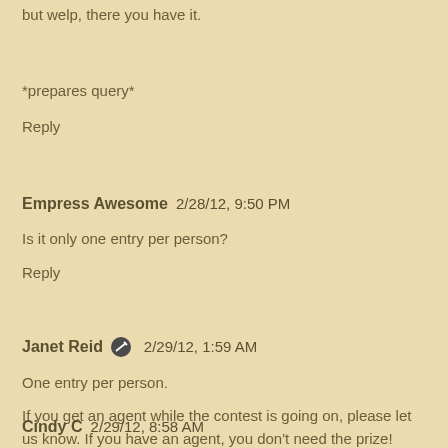Probably greedy for me to enter in hopes of going again, but welp, there you have it.
*prepares query*
Reply
Empress Awesome  2/28/12, 9:50 PM
Is it only one entry per person?
Reply
Janet Reid  2/29/12, 1:59 AM
One entry per person.
If you get an agent while the contest is going on, please let us know. If you have an agent, you don't need the prize!
Reply
Cindy C  2/29/12, 8:58 AM